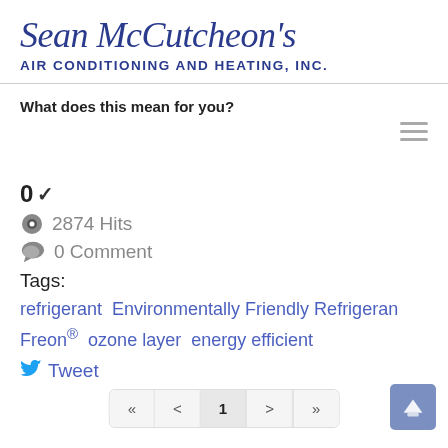Sean McCutcheon's Air Conditioning and Heating, Inc.
What does this mean for you?
0 ✓
2874 Hits
0 Comment
Tags:
refrigerant Environmentally Friendly Refrigeran Freon® ozone layer energy efficient
Tweet